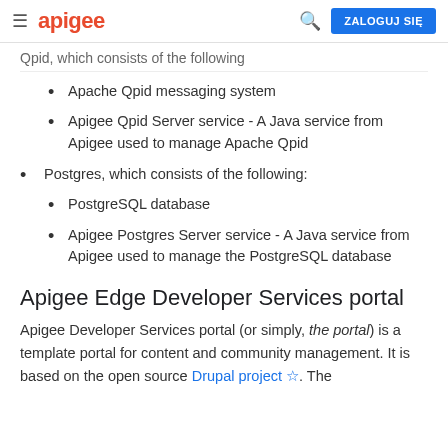apigee | ZALOGUJ SIĘ
Qpid, which consists of the following
Apache Qpid messaging system
Apigee Qpid Server service - A Java service from Apigee used to manage Apache Qpid
Postgres, which consists of the following:
PostgreSQL database
Apigee Postgres Server service - A Java service from Apigee used to manage the PostgreSQL database
Apigee Edge Developer Services portal
Apigee Developer Services portal (or simply, the portal) is a template portal for content and community management. It is based on the open source Drupal project ☆. The